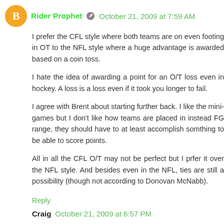Rider Prophet · October 21, 2009 at 7:59 AM
I prefer the CFL style where both teams are on even footing in OT to the NFL style where a huge advantage is awarded based on a coin toss.
I hate the idea of awarding a point for an O/T loss even in hockey. A loss is a loss even if it took you longer to fail.
I agree with Brent about starting further back. I like the mini-games but I don't like how teams are placed in instead FG range, they should have to at least accomplish somthing to be able to score points.
All in all the CFL O/T may not be perfect but I prfer it over the NFL style. And besides even in the NFL, ties are still a possibility (though not according to Donovan McNabb).
Reply
Craig  October 21, 2009 at 6:57 PM